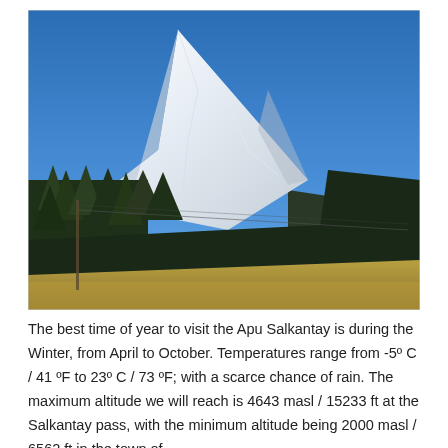[Figure (photo): Photograph of Apu Salkantay mountain, a large snow-covered peak with steep white slopes, surrounded by green trees in the foreground and a clear blue sky.]
The best time of year to visit the Apu Salkantay is during the Winter, from April to October. Temperatures range from -5º C / 41 ºF to 23º C / 73 ºF; with a scarce chance of rain. The maximum altitude we will reach is 4643 masl / 15233 ft at the Salkantay pass, with the minimum altitude being 2000 masl / 6562 ft in the town of